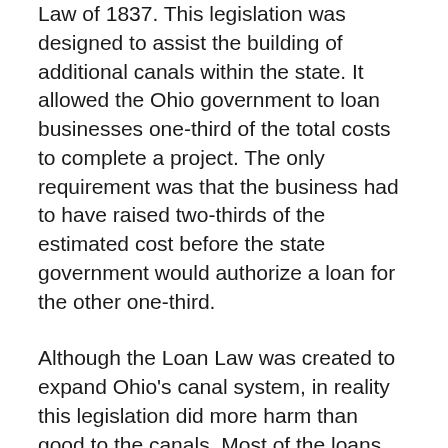Law of 1837. This legislation was designed to assist the building of additional canals within the state. It allowed the Ohio government to loan businesses one-third of the total costs to complete a project. The only requirement was that the business had to have raised two-thirds of the estimated cost before the state government would authorize a loan for the other one-third.
Although the Loan Law was created to expand Ohio's canal system, in reality this legislation did more harm than good to the canals. Most of the loans granted by the Ohio legislature went to railroad companies, rather than to the canals. The Ohio Loan Law spurred railroad growth in the state. Canals now faced opposition from the railroads, and they quickly lost business to the faster railroad.
While the Ohio Loan Law helped improve the state's transportation infrastructure, it also caused a great deal of harm in another way. Critics of this legislation commonly referred to it as the "Plunder Law," because the Ohio treasury's monetary resources declined greatly as a result of the law. The Ohio legislature loaned more money than existed in the state's treasury. As a result of these